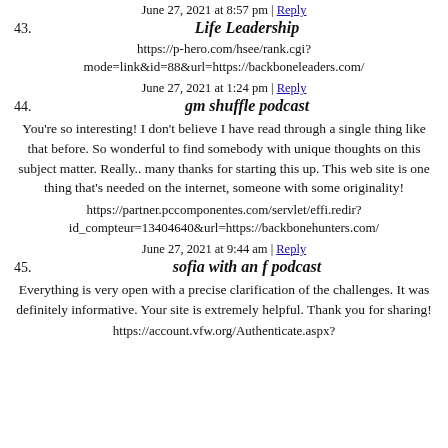June 27, 2021 at 8:57 pm | Reply
43. Life Leadership
https://p-hero.com/hsee/rank.cgi?mode=link&id=88&url=https://backboneleaders.com/
June 27, 2021 at 1:24 pm | Reply
44. gm shuffle podcast
You're so interesting! I don't believe I have read through a single thing like that before. So wonderful to find somebody with unique thoughts on this subject matter. Really.. many thanks for starting this up. This web site is one thing that's needed on the internet, someone with some originality!
https://partner.pccomponentes.com/servlet/effi.redir?id_compteur=13404640&url=https://backbonehunters.com/
June 27, 2021 at 9:44 am | Reply
45. sofia with an f podcast
Everything is very open with a precise clarification of the challenges. It was definitely informative. Your site is extremely helpful. Thank you for sharing!
https://account.vfw.org/Authenticate.aspx?